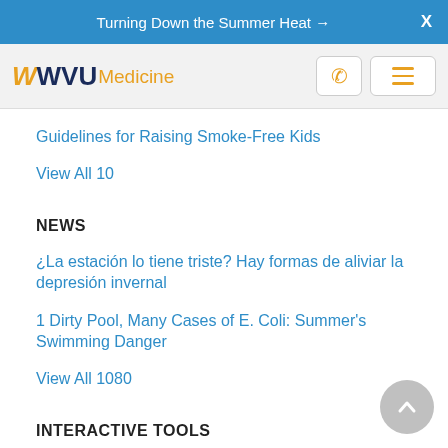Turning Down the Summer Heat →  X
[Figure (logo): WVU Medicine logo with phone and menu icons]
Guidelines for Raising Smoke-Free Kids
View All 10
NEWS
¿La estación lo tiene triste? Hay formas de aliviar la depresión invernal
1 Dirty Pool, Many Cases of E. Coli: Summer's Swimming Danger
View All 1080
INTERACTIVE TOOLS
Cost of Smoking Calculator
Lung Cancer Risk Assessment